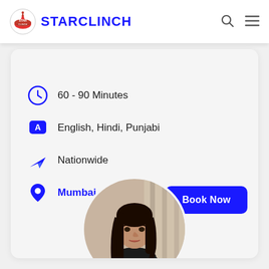STARCLINCH
60 - 90 Minutes
English, Hindi, Punjabi
Nationwide
Mumbai
[Figure (photo): Circular profile photo of a young woman with long dark hair wearing a black top, photographed indoors]
Book Now